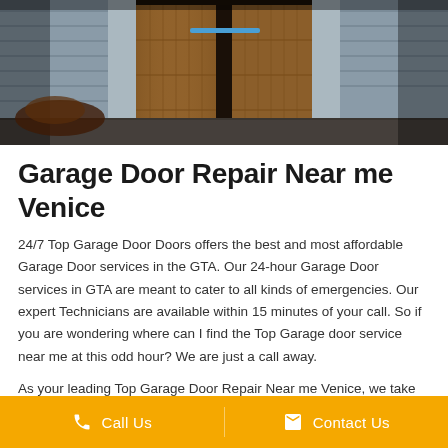[Figure (photo): A dark exterior photo showing wooden garage doors with stone/brick driveway, with a blue decorative bar element in the upper center]
Garage Door Repair Near me Venice
24/7 Top Garage Door Doors offers the best and most affordable Garage Door services in the GTA. Our 24-hour Garage Door services in GTA are meant to cater to all kinds of emergencies. Our expert Technicians are available within 15 minutes of your call. So if you are wondering where can I find the Top Garage door service near me at this odd hour? We are just a call away.
As your leading Top Garage Door Repair Near me Venice, we take
Call Us   Contact Us